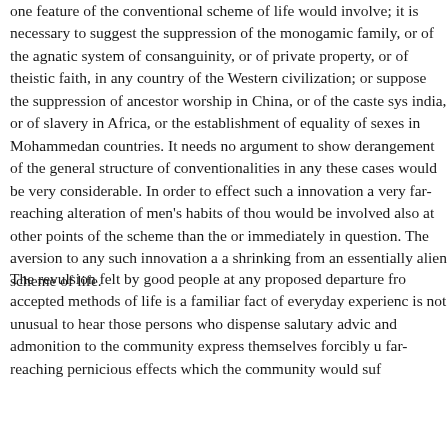one feature of the conventional scheme of life would involve; it is necessary to suggest the suppression of the monogamic family, or of the agnatic system of consanguinity, or of private property, or of theistic faith, in any country of the Western civilization; or suppose the suppression of ancestor worship in China, or of the caste system in india, or of slavery in Africa, or the establishment of equality of the sexes in Mohammedan countries. It needs no argument to show that a derangement of the general structure of conventionalities in any of these cases would be very considerable. In order to effect such an innovation a very far-reaching alteration of men's habits of thought would be involved also at other points of the scheme than the one immediately in question. The aversion to any such innovation amounts to a shrinking from an essentially alien scheme of life.
The revulsion felt by good people at any proposed departure from the accepted methods of life is a familiar fact of everyday experience. It is not unusual to hear those persons who dispense salutary advice and admonition to the community express themselves forcibly upon the far-reaching pernicious effects which the community would suffer